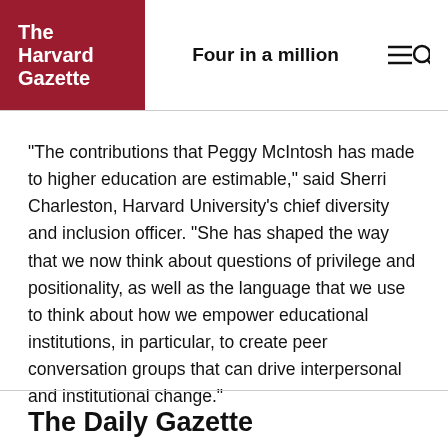The Harvard Gazette | Four in a million
"The contributions that Peggy McIntosh has made to higher education are estimable," said Sherri Charleston, Harvard University's chief diversity and inclusion officer. "She has shaped the way that we now think about questions of privilege and positionality, as well as the language that we use to think about how we empower educational institutions, in particular, to create peer conversation groups that can drive interpersonal and institutional change."
The Daily Gazette